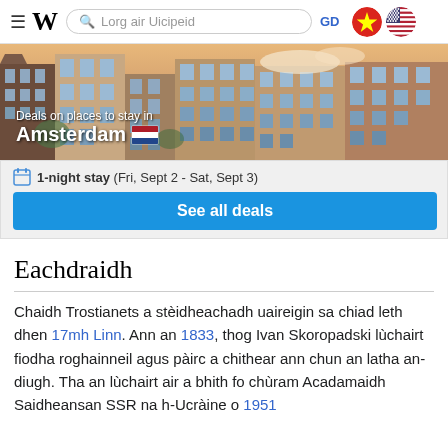≡ W  [Search: Lorg air Uicipeid]  GD  [Vietnam flag] [US flag]
[Figure (photo): Advertisement banner showing Amsterdam canal houses with text 'Deals on places to stay in Amsterdam' with Dutch flag emoji]
📅 1-night stay (Fri, Sept 2 - Sat, Sept 3)
See all deals
Eachdraidh
Chaidh Trostianets a stèidheachadh uaireigin sa chiad leth dhen 17mh Linn. Ann an 1833, thog Ivan Skoropadski lùchairt fiodha roghainneil agus pàirc a chithear ann chun an latha an-diugh. Tha an lùchairt air a bhith fo chùram Acadamaidh Saidheansan SSR na h-Ucràine o 1951